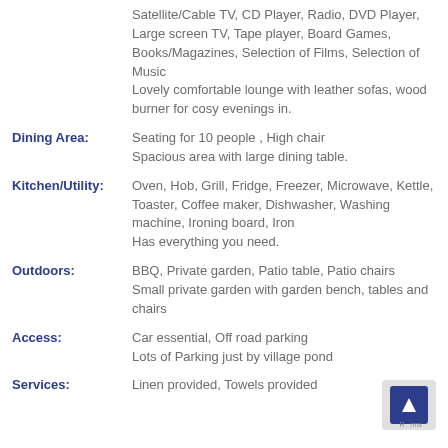Satellite/Cable TV, CD Player, Radio, DVD Player, Large screen TV, Tape player, Board Games, Books/Magazines, Selection of Films, Selection of Music
Lovely comfortable lounge with leather sofas, wood burner for cosy evenings in.
Dining Area: Seating for 10 people , High chair
Spacious area with large dining table.
Kitchen/Utility: Oven, Hob, Grill, Fridge, Freezer, Microwave, Kettle, Toaster, Coffee maker, Dishwasher, Washing machine, Ironing board, Iron
Has everything you need.
Outdoors: BBQ, Private garden, Patio table, Patio chairs
Small private garden with garden bench, tables and chairs
Access: Car essential, Off road parking
Lots of Parking just by village pond
Services: Linen provided, Towels provided